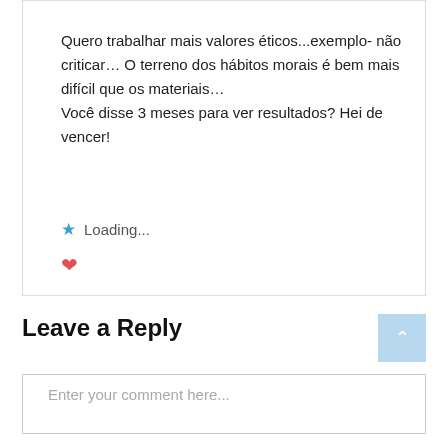Quero trabalhar mais valores éticos...exemplo- não criticar… O terreno dos hábitos morais é bem mais difícil que os materiais… Você disse 3 meses para ver resultados? Hei de vencer!
★ Loading...
♥
Reply
Leave a Reply
Enter your comment here...